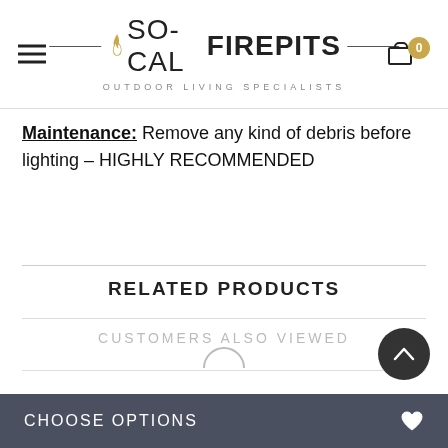SO-CAL FIREPITS | OUTDOOR LIVING SPECIALISTS
Maintenance: Remove any kind of debris before lighting – HIGHLY RECOMMENDED
RELATED PRODUCTS
CUSTOMERS ALSO VIEWED
CHOOSE OPTIONS